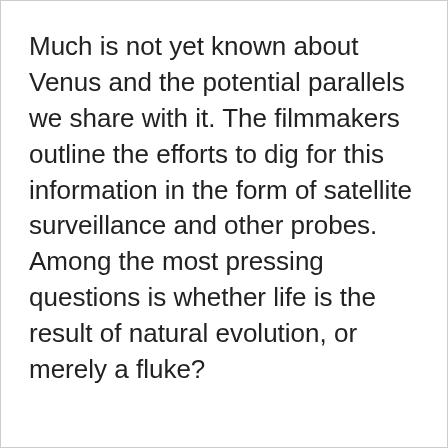Much is not yet known about Venus and the potential parallels we share with it. The filmmakers outline the efforts to dig for this information in the form of satellite surveillance and other probes. Among the most pressing questions is whether life is the result of natural evolution, or merely a fluke?